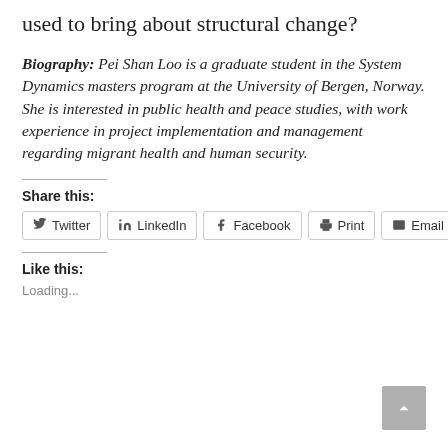used to bring about structural change?
Biography: Pei Shan Loo is a graduate student in the System Dynamics masters program at the University of Bergen, Norway. She is interested in public health and peace studies, with work experience in project implementation and management regarding migrant health and human security.
Share this:
Twitter  LinkedIn  Facebook  Print  Email
Like this:
Loading...